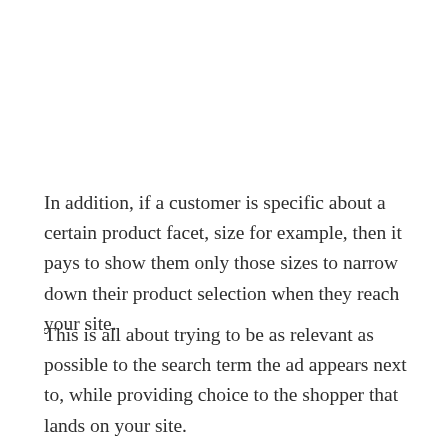In addition, if a customer is specific about a certain product facet, size for example, then it pays to show them only those sizes to narrow down their product selection when they reach your site.
This is all about trying to be as relevant as possible to the search term the ad appears next to, while providing choice to the shopper that lands on your site.